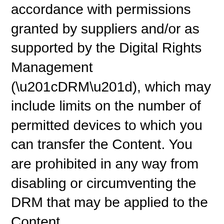accordance with permissions granted by suppliers and/or as supported by the Digital Rights Management (“DRM”), which may include limits on the number of permitted devices to which you can transfer the Content. You are prohibited in any way from disabling or circumventing the DRM that may be applied to the Content.
The Content and any other copyrighted material shall not be modified, copied, distributed, repackaged, shared, displayed, revealed, extracted, emailed, transmitted, sold or otherwise transferred, conveyed or used, in a manner inconsistent with the Agreement, or rights of the copyright owner. You shall not redistribute, repackage, transmit, assign, sell, broadcast, rent, share, lend, modify, extract, reveal, adapt, edit,